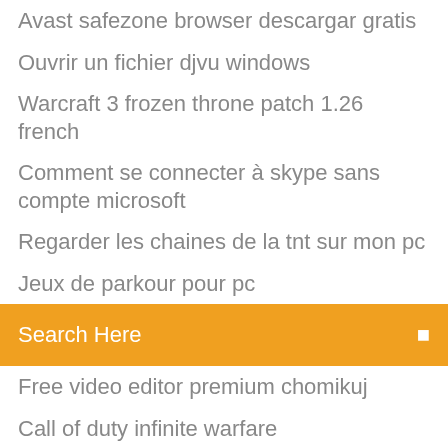Avast safezone browser descargar gratis
Ouvrir un fichier djvu windows
Warcraft 3 frozen throne patch 1.26 french
Comment se connecter à skype sans compte microsoft
Regarder les chaines de la tnt sur mon pc
Jeux de parkour pour pc
[Figure (screenshot): Orange search bar with 'Search Here' placeholder text and a search icon on the right]
Free video editor premium chomikuj
Call of duty infinite warfare
Nvidia driver windows 7 64 bit télécharger
Pc scan & repair by reimage full
Site streaming comme netflix gratuit
Cheat codes gta 5 ps4 cell phone
Norton ghost windows 7 64 bit gratuit télécharger
Command and conquer red alert 1 gameplay
Mettre 2 video cote a cote
How to update mac os x 10.6
Comment mettre une photo sur une video movie maker